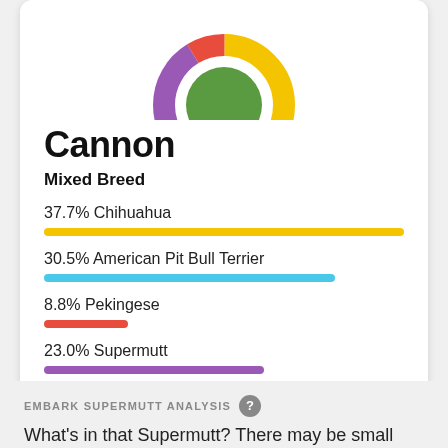[Figure (donut-chart): Cannon breed composition]
Cannon
Mixed Breed
37.7% Chihuahua
30.5% American Pit Bull Terrier
8.8% Pekingese
23.0% Supermutt
EMBARK SUPERMUTT ANALYSIS
What's in that Supermutt? There may be small